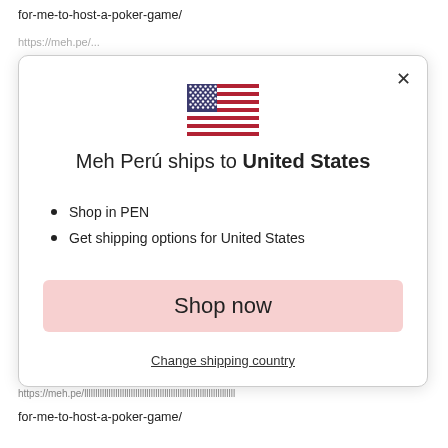for-me-to-host-a-poker-game/
[Figure (screenshot): Modal dialog showing US flag, text 'Meh Perú ships to United States', bullet points 'Shop in PEN' and 'Get shipping options for United States', a pink 'Shop now' button, and a 'Change shipping country' link with a close X button]
for-me-to-host-a-poker-game/